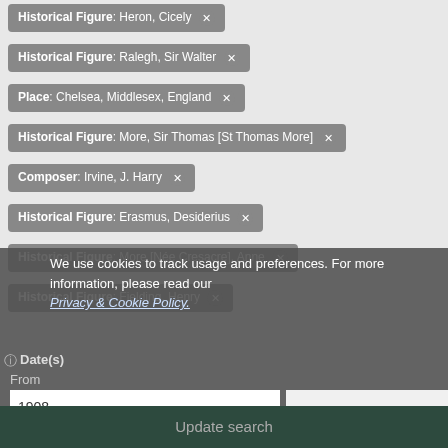Historical Figure: Heron, Cicely ✕
Historical Figure: Ralegh, Sir Walter ✕
Place: Chelsea, Middlesex, England ✕
Historical Figure: More, Sir Thomas [St Thomas More] ✕
Composer: Irvine, J. Harry ✕
Historical Figure: Erasmus, Desiderius ✕
Historical Figure: More [Née Cresacre], Anne ✕
Historical Figure: Fielding, Henry ✕
We use cookies to track usage and preferences. For more information, please read our Privacy & Cookie Policy.
Date(s)
From
1908
ACCEPT
Update search